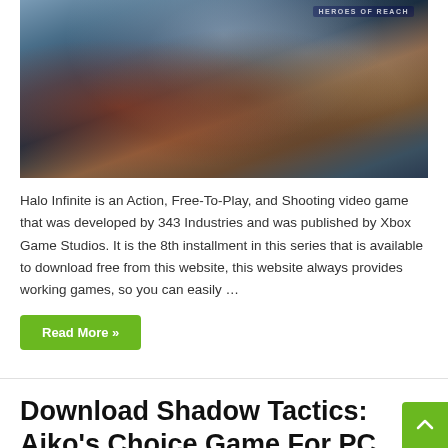[Figure (photo): Halo Infinite game cover art showing armored soldiers with weapons against a mountainous background, with 'HEROES OF REACH' text badge in upper right]
Halo Infinite is an Action, Free-To-Play, and Shooting video game that was developed by 343 Industries and was published by Xbox Game Studios. It is the 8th installment in this series that is available to download free from this website, this website always provides working games, so you can easily …
Read More »
Download Shadow Tactics: Aiko's Choice Game For PC Full Version
December 8, 2021   Action, Indie, Strategy   0